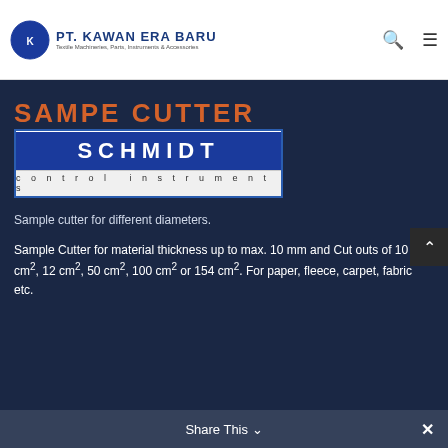[Figure (logo): PT. Kawan Era Baru logo with circular emblem, company name in bold blue, subtitle: Textile Machineries, Parts, Instruments & Accessories]
SAMPE CUTTER
[Figure (logo): Schmidt Control Instruments logo — blue rectangle with white SCHMIDT text and grey bottom panel with 'control instruments' text]
Sample cutter for different diameters.
Sample Cutter for material thickness up to max. 10 mm and Cut outs of 10 cm², 12 cm², 50 cm², 100 cm² or 154 cm². For paper, fleece, carpet, fabric etc.
It comes with 2 main types...